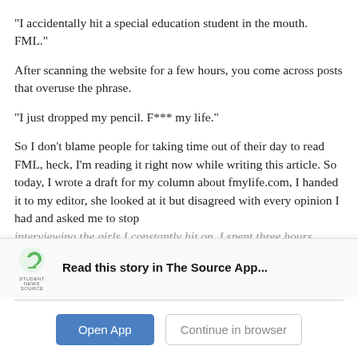“I accidentally hit a special education student in the mouth. FML.”
After scanning the website for a few hours, you come across posts that overuse the phrase.
“I just dropped my pencil. F*** my life.”
So I don’t blame people for taking time out of their day to read FML, heck, I’m reading it right now while writing this article. So today, I wrote a draft for my column about fmylife.com, I handed it to my editor, she looked at it but disagreed with every opinion I had and asked me to stop interviewing the girls I constantly hit on. I spent three hours…
[Figure (logo): Student News Source logo with green S and text STUDENT NEWS SOURCE]
Read this story in The Source App...
Open App
Continue in browser